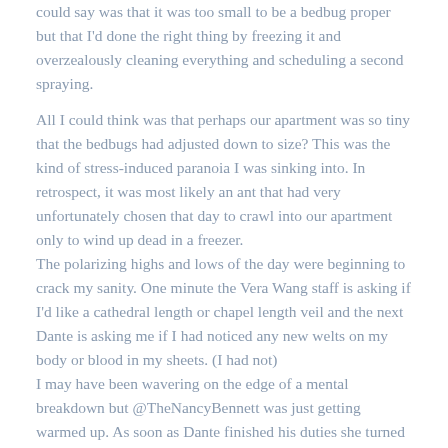could say was that it was too small to be a bedbug proper but that I'd done the right thing by freezing it and overzealously cleaning everything and scheduling a second spraying.
All I could think was that perhaps our apartment was so tiny that the bedbugs had adjusted down to size? This was the kind of stress-induced paranoia I was sinking into. In retrospect, it was most likely an ant that had very unfortunately chosen that day to crawl into our apartment only to wind up dead in a freezer.
The polarizing highs and lows of the day were beginning to crack my sanity. One minute the Vera Wang staff is asking if I'd like a cathedral length or chapel length veil and the next Dante is asking me if I had noticed any new welts on my body or blood in my sheets. (I had not)
I may have been wavering on the edge of a mental breakdown but @TheNancyBennett was just getting warmed up. As soon as Dante finished his duties she turned to me with a glint in her eye,